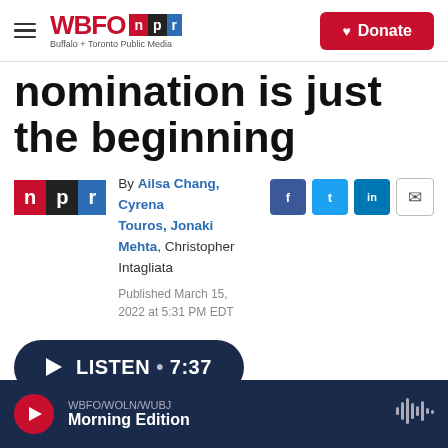WBFO NPR — Buffalo + Toronto Public Media | Donate
nomination is just the beginning
By Ailsa Chang, Cyrena Touros, Jonaki Mehta, Christopher Intagliata
Published March 15, 2022 at 5:31 PM EDT
LISTEN • 7:37
WBFO/WOLN/WUBJ Morning Edition